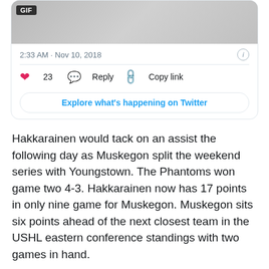[Figure (screenshot): Twitter card showing GIF image, timestamp '2:33 AM · Nov 10, 2018', info icon, heart/like (23), Reply, Copy link actions, and 'Explore what's happening on Twitter' button]
Hakkarainen would tack on an assist the following day as Muskegon split the weekend series with Youngstown. The Phantoms won game two 4-3. Hakkarainen now has 17 points in only nine game for Muskegon. Muskegon sits six points ahead of the next closest team in the USHL eastern conference standings with two games in hand.
[Figure (screenshot): Twitter card showing Muskegon Lumberjacks account with verified badge, @MuskegonJacks handle, Follow link, and scroll-up button]